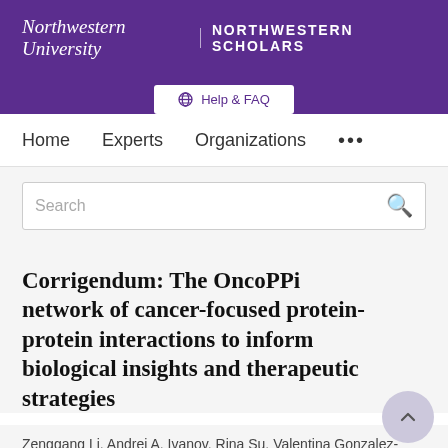Northwestern University | NORTHWESTERN SCHOLARS
Help & FAQ
Home   Experts   Organizations   ...
Search
Corrigendum: The OncoPPi network of cancer-focused protein-protein interactions to inform biological insights and therapeutic strategies
Zenggang Li, Andrei A. Ivanov, Rina Su, Valentina Gonzalez-